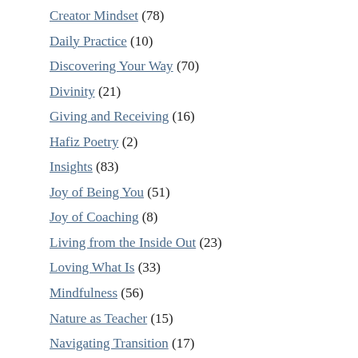Creator Mindset (78)
Daily Practice (10)
Discovering Your Way (70)
Divinity (21)
Giving and Receiving (16)
Hafiz Poetry (2)
Insights (83)
Joy of Being You (51)
Joy of Coaching (8)
Living from the Inside Out (23)
Loving What Is (33)
Mindfulness (56)
Nature as Teacher (15)
Navigating Transition (17)